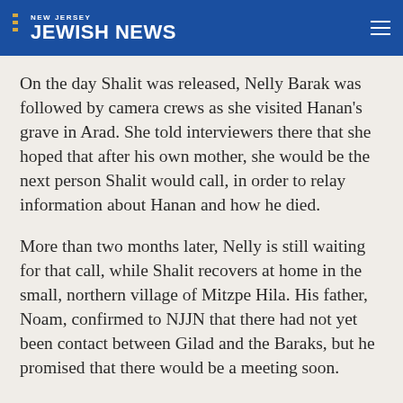NEW JERSEY JEWISH NEWS
On the day Shalit was released, Nelly Barak was followed by camera crews as she visited Hanan’s grave in Arad. She told interviewers there that she hoped that after his own mother, she would be the next person Shalit would call, in order to relay information about Hanan and how he died.
More than two months later, Nelly is still waiting for that call, while Shalit recovers at home in the small, northern village of Mitzpe Hila. His father, Noam, confirmed to NJJN that there had not yet been contact between Gilad and the Baraks, but he promised that there would be a meeting soon.